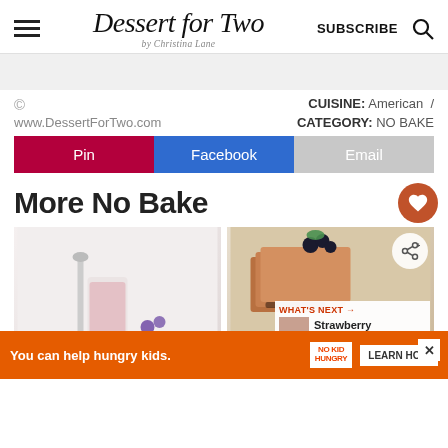Dessert for Two by Christina Lane — SUBSCRIBE
© www.DessertForTwo.com   CUISINE: American / CATEGORY: NO BAKE
Pin  Facebook  Email
More No Bake
[Figure (photo): Two food photos side by side: left shows a pink/berry drink in a glass with a spoon; right shows chocolate caramel bars topped with blackberries and mint]
WHAT'S NEXT → Strawberry Pate de Fruit
You can help hungry kids. NO KID HUNGRY LEARN HOW